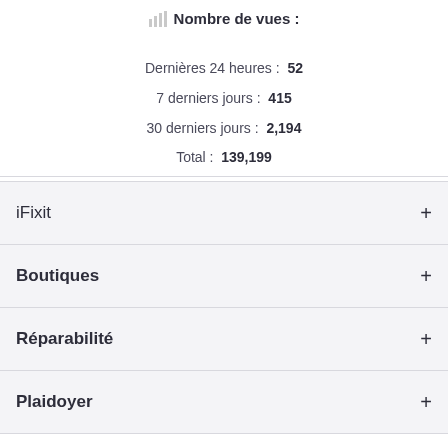Nombre de vues :
Dernières 24 heures : 52
7 derniers jours : 415
30 derniers jours : 2,194
Total : 139,199
iFixit
Boutiques
Réparabilité
Plaidoyer